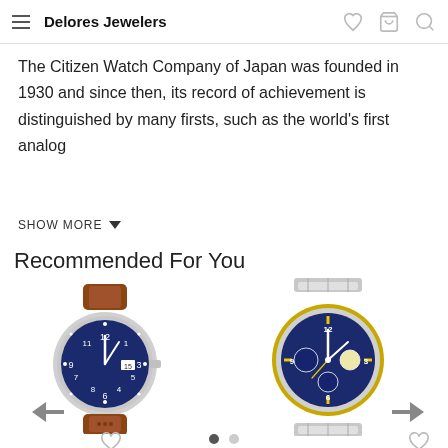Delores Jewelers
The Citizen Watch Company of Japan was founded in 1930 and since then, its record of achievement is distinguished by many firsts, such as the world's first analog
SHOW MORE
Recommended For You
[Figure (photo): A blue-dial Citizen watch with brown leather strap]
[Figure (photo): A blue-dial Citizen chronograph watch with silver and gold metal bracelet]